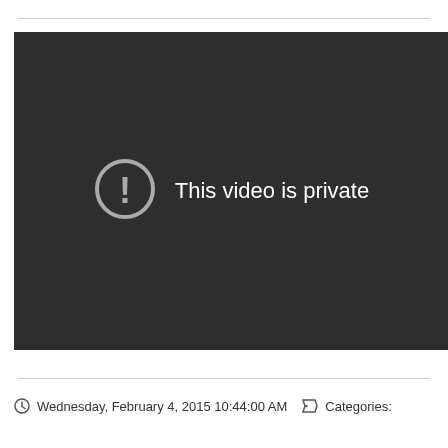[Figure (screenshot): A dark video player placeholder showing a circle with exclamation mark icon and the text 'This video is private' in white on a dark background.]
Wednesday, February 4, 2015 10:44:00 AM   Categories: